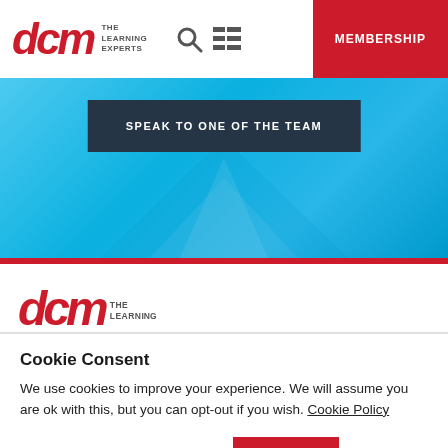[Figure (logo): DCM The Learning Experts logo in red with search and grid icons, and red MEMBERSHIP button]
[Figure (screenshot): Blue gradient banner with dark navy button reading SPEAK TO ONE OF THE TEAM]
[Figure (logo): Partial DCM The Learning Experts logo in red at bottom of white section]
Cookie Consent
We use cookies to improve your experience. We will assume you are ok with this, but you can opt-out if you wish. Cookie Policy
EDIT SETTINGS
GOT IT